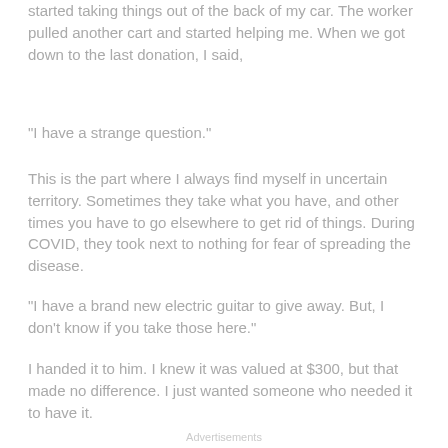started taking things out of the back of my car. The worker pulled another cart and started helping me. When we got down to the last donation, I said,
“I have a strange question.”
This is the part where I always find myself in uncertain territory. Sometimes they take what you have, and other times you have to go elsewhere to get rid of things. During COVID, they took next to nothing for fear of spreading the disease.
“I have a brand new electric guitar to give away. But, I don’t know if you take those here.”
I handed it to him. I knew it was valued at $300, but that made no difference. I just wanted someone who needed it to have it.
Advertisements